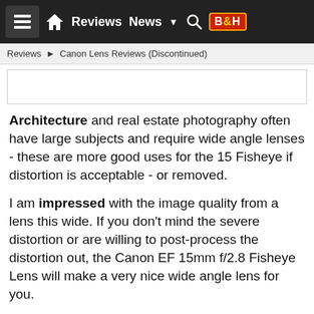Reviews | News | B&H
Reviews ▶ Canon Lens Reviews (Discontinued)
Architecture and real estate photography often have large subjects and require wide angle lenses - these are more good uses for the 15 Fisheye if distortion is acceptable - or removed.
I am impressed with the image quality from a lens this wide. If you don't mind the severe distortion or are willing to post-process the distortion out, the Canon EF 15mm f/2.8 Fisheye Lens will make a very nice wide angle lens for you.
Bringing you this site is my full-time job (typically 60-80 hours per week). Thus, I depend solely on the commissions received from companies via the links on this